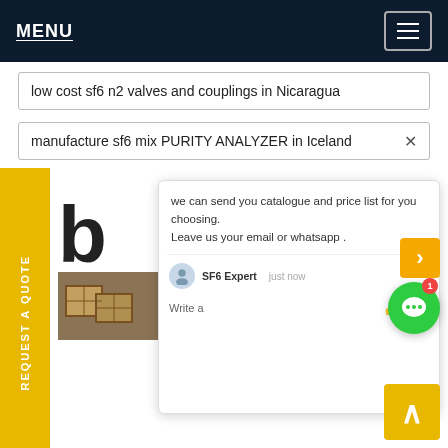MENU
low cost sf6 n2 valves and couplings in Nicaragua
manufacture sf6 mix PURITY ANALYZER in Iceland
REQUEST A QUOTE
How to Detect Filling
we can send you catalogue and price list for you choosing.
Leave us your email or whatsapp .
SF6 Expert    just now
Write a